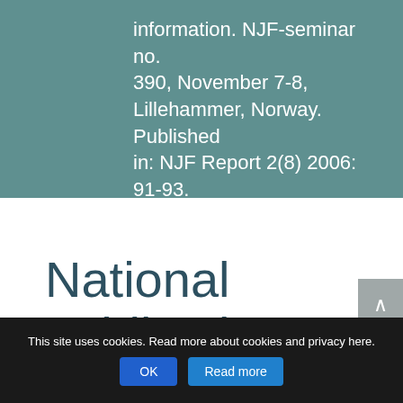information. NJF-seminar no. 390, November 7-8, Lillehammer, Norway. Published in: NJF Report 2(8) 2006: 91-93.
National publications
This site uses cookies. Read more about cookies and privacy here.